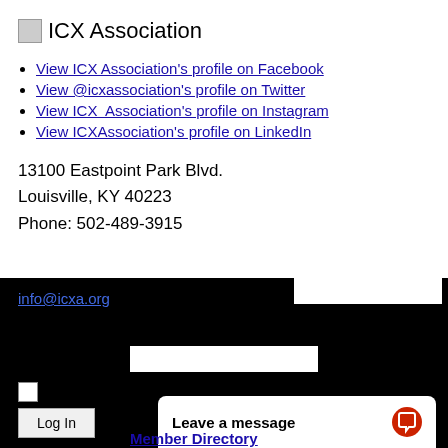[Figure (logo): ICX Association logo with small image icon and text]
View ICX Association's profile on Facebook
View @icxassociation's profile on Twitter
View ICX  Association's profile on Instagram
View ICXAssociation's profile on LinkedIn
13100 Eastpoint Park Blvd.
Louisville, KY 40223
Phone: 502-489-3915
info@icxa.org
[Figure (screenshot): Login form with input fields, checkbox, and Log In button on black background]
Leave a message
Member Directory